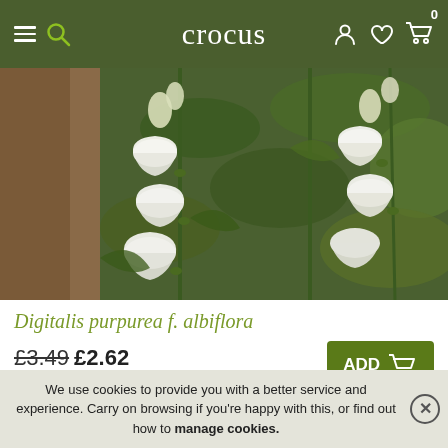crocus
[Figure (photo): Close-up photograph of white Digitalis purpurea f. albiflora (white foxglove) flowers with bell-shaped blooms hanging from stems, with green foliage and a brown bark background]
Digitalis purpurea f. albiflora
£3.49 £2.62
approx 250 seeds
We use cookies to provide you with a better service and experience. Carry on browsing if you're happy with this, or find out how to manage cookies.